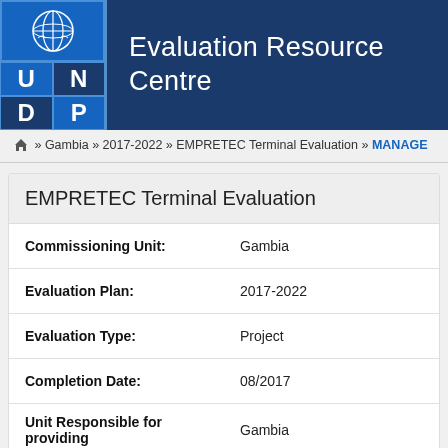[Figure (logo): UNDP logo with UN globe emblem and blue background]
Evaluation Resource Centre
Home » Gambia » 2017-2022 » EMPRETEC Terminal Evaluation » MANAGEMENT
EMPRETEC Terminal Evaluation
| Field | Value |
| --- | --- |
| Commissioning Unit: | Gambia |
| Evaluation Plan: | 2017-2022 |
| Evaluation Type: | Project |
| Completion Date: | 08/2017 |
| Unit Responsible for providing | Gambia |